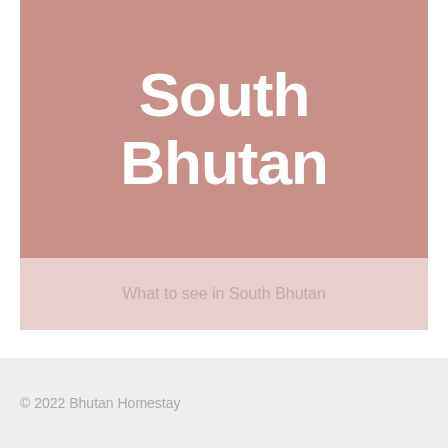South Bhutan
What to see in South Bhutan
© 2022 Bhutan Homestay